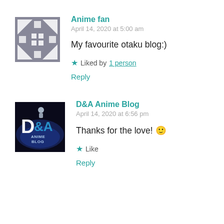[Figure (illustration): Avatar for Anime fan — geometric pattern with squares and triangles on gray/white background]
Anime fan
April 14, 2020 at 5:00 am
My favourite otaku blog:)
Liked by 1 person
Reply
[Figure (logo): D&A Anime Blog logo — dark background with stylized D&A letters and 'ANIME BLOG' text in blue tones]
D&A Anime Blog
April 14, 2020 at 6:56 pm
Thanks for the love! 🙂
Like
Reply